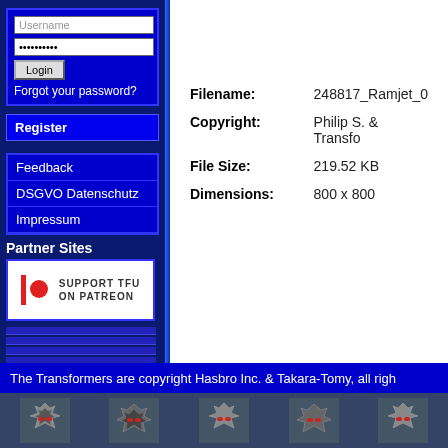[Figure (screenshot): Login form with Username text field, password field (shown as dots), and Login button]
Forgot your password?
Register
Feedback
DSGVO Datenschutz
Impressum
Partner Sites
[Figure (logo): Support TFU on Patreon banner with Patreon icon]
Random Pic
Hits: 2660
| Field | Value |
| --- | --- |
| Filename: | 248817_Ramjet_0 |
| Copyright: | Philip S. & Transfo |
| File Size: | 219.52 KB |
| Dimensions: | 800 x 800 |
The Transformers are copyright Hasbro Inc. & Takara-Tomy, all righ
[Figure (illustration): Bottom strip with Transformers Autobot and Decepticon logos on dark background tiles]